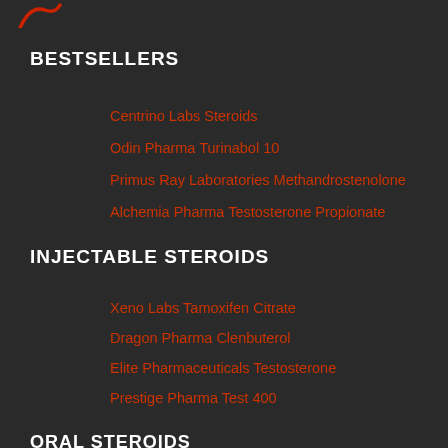[Figure (logo): Red logo/icon partially visible at top left]
BESTSELLERS
Centrino Labs Steroids
Odin Pharma Turinabol 10
Primus Ray Laboratories Methandrostenolone
Alchemia Pharma Testosterone Propionate
INJECTABLE STEROIDS
Xeno Labs Tamoxifen Citrate
Dragon Pharma Clenbuterol
Elite Pharmaceuticals Testosterone
Prestige Pharma Test 400
ORAL STEROIDS
British Pharmaceuticals (partially visible)